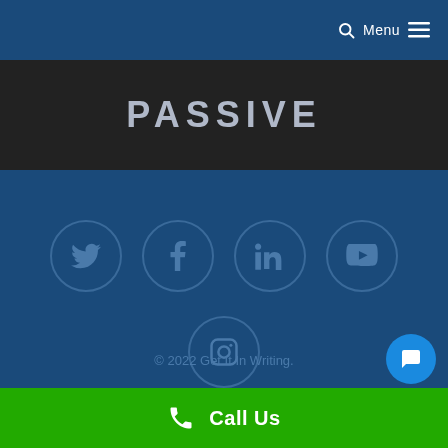Menu
PASSIVE
[Figure (illustration): Social media icons in circles: Twitter, Facebook, LinkedIn, YouTube, Instagram on dark blue footer background]
© 2022 Get It In Writing.
Call Us